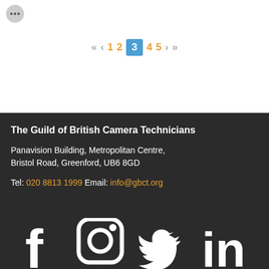[Figure (other): Three-dot menu icon (ellipsis) in a grey circle]
« < 1 2 3 4 5 > »
The Guild of British Camera Technicians
Panavision Building, Metropolitan Centre,
Bristol Road, Greenford, UB6 8GD
Tel: 020 8813 1999 Email: info@gbct.org
[Figure (other): Social media icons: Facebook, Instagram, Twitter, LinkedIn — white icons on dark background]